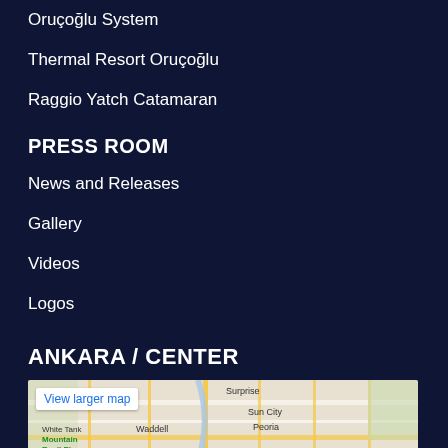Oruçoğlu System
Thermal Resort Oruçoğlu
Raggio Yatch Catamaran
PRESS ROOM
News and Releases
Gallery
Videos
Logos
ANKARA / CENTER
[Figure (map): Google Maps showing area around Glendale/Peoria/Sun City area with a red location pin marker. Includes label 'View larger map'. Shows Surprise, Sun City, Peoria, Glendale, Waddell, White Tank Mountain Reg'l Pk, Citrus Park.]